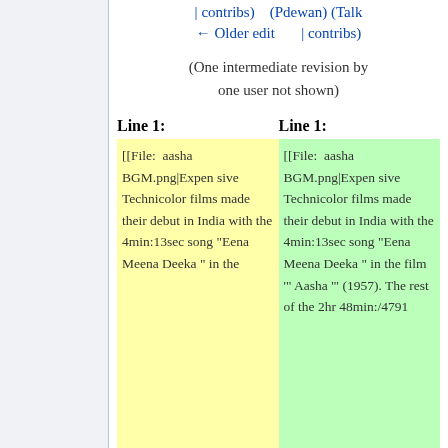| contribs)    (Pdewan) (Talk
← Older edit       | contribs)
(One intermediate revision by one user not shown)
Line 1:        Line 1:
[[File:  aasha BGM.png|Expensive Technicolor films made their debut in India with the 4min:13sec song "Eena Meena Deeka " in the film '" Aasha '" (1957). The rest of the 2hr
[[File:  aasha BGM.png|Expensive Technicolor films made their debut in India with the 4min:13sec song "Eena Meena Deeka" in the
48min:/4791